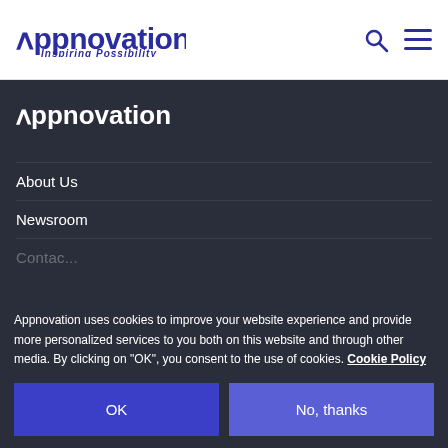[Figure (logo): Appnovation logo with caret mark and 'Inspiring Possibility' tagline in dark blue]
[Figure (logo): Search icon and hamburger menu icon in dark blue on white header]
[Figure (logo): Appnovation logo in white on dark background navigation panel]
About Us
Newsroom
Appnovation uses cookies to improve your website experience and provide more personalized services to you both on this website and through other media. By clicking on 'OK', you consent to the use of cookies. Cookie Policy
OK
No, thanks